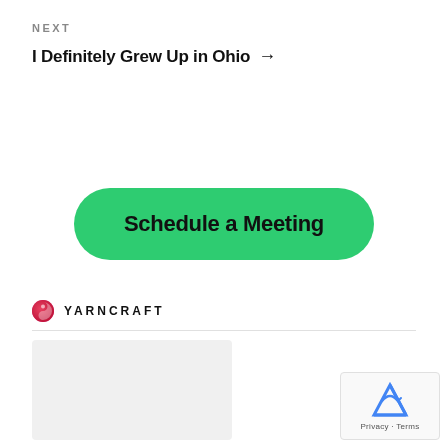NEXT
I Definitely Grew Up in Ohio →
[Figure (other): Green rounded button with bold text 'Schedule a Meeting']
[Figure (logo): Yarncraft logo: a circular red/pink yin-yang style icon followed by the text 'YARNCRAFT' in bold uppercase spaced letters]
[Figure (photo): Partially visible image below the divider line]
[Figure (other): Google reCAPTCHA widget in bottom-right corner showing the reCAPTCHA icon and 'Privacy - Terms' text]